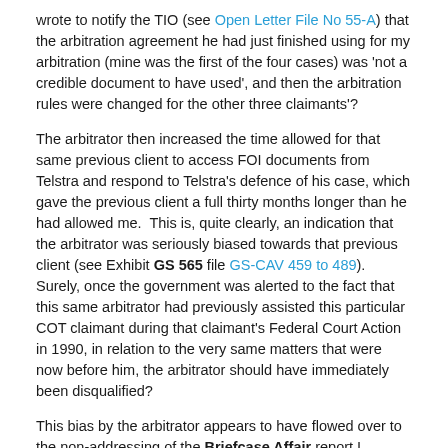wrote to notify the TIO (see Open Letter File No 55-A) that the arbitration agreement he had just finished using for my arbitration (mine was the first of the four cases) was 'not a credible document to have used', and then the arbitration rules were changed for the other three claimants'?
The arbitrator then increased the time allowed for that same previous client to access FOI documents from Telstra and respond to Telstra's defence of his case, which gave the previous client a full thirty months longer than he had allowed me.  This is, quite clearly, an indication that the arbitrator was seriously biased towards that previous client (see Exhibit GS 565 file GS-CAV 459 to 489). Surely, once the government was alerted to the fact that this same arbitrator had previously assisted this particular COT claimant during that claimant's Federal Court Action in 1990, in relation to the very same matters that were now before him, the arbitrator should have immediately been disqualified?
This bias by the arbitrator appears to have flowed over to the non-addressing of the Briefcase Affair report I submitted into the Fast Track Settlement Proposal (FTSP) in January 1994. By 21 April 1994, the powers to be were able to turn this FTSP (commercial assessment